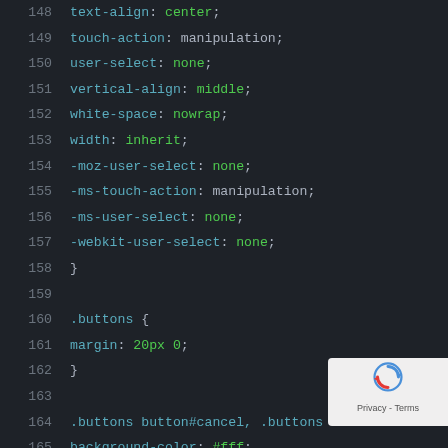[Figure (screenshot): Code editor screenshot showing CSS code lines 148-177 with dark background theme. Line numbers in gray on left, CSS property names in cyan/teal, CSS values in green. A reCAPTCHA badge overlay appears at bottom right.]